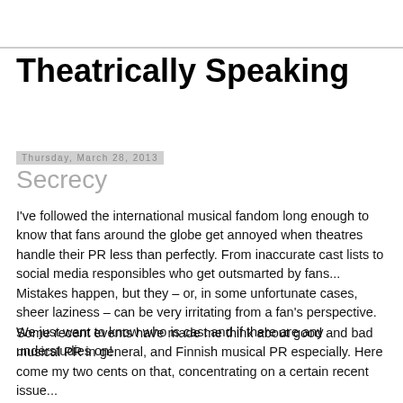Theatrically Speaking
Thursday, March 28, 2013
Secrecy
I've followed the international musical fandom long enough to know that fans around the globe get annoyed when theatres handle their PR less than perfectly. From inaccurate cast lists to social media responsibles who get outsmarted by fans... Mistakes happen, but they – or, in some unfortunate cases, sheer laziness – can be very irritating from a fan's perspective. We just want to know who is cast and if there are any understudies on!
Some recent events have made me think about good and bad musical PR in general, and Finnish musical PR especially. Here come my two cents on that, concentrating on a certain recent issue...